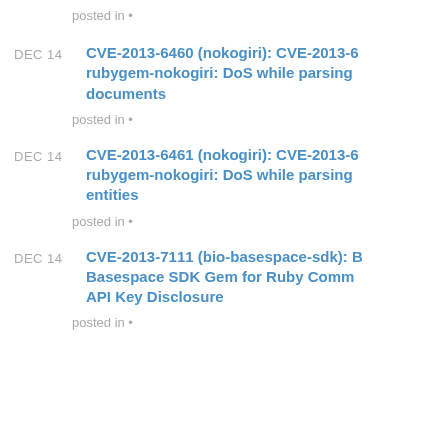posted in •
CVE-2013-6460 (nokogiri): CVE-2013-6460 rubygem-nokogiri: DoS while parsing documents
posted in •
CVE-2013-6461 (nokogiri): CVE-2013-6461 rubygem-nokogiri: DoS while parsing entities
posted in •
CVE-2013-7111 (bio-basespace-sdk): Basespace SDK Gem for Ruby Command API Key Disclosure
posted in •